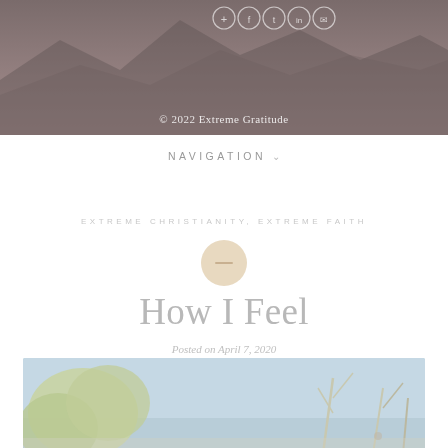© 2022 Extreme Gratitude
NAVIGATION
EXTREME CHRISTIANITY, EXTREME FAITH
How I Feel
Posted on April 7, 2020
[Figure (photo): Outdoor nature photo showing tree branches with leaves against a light blue sky]